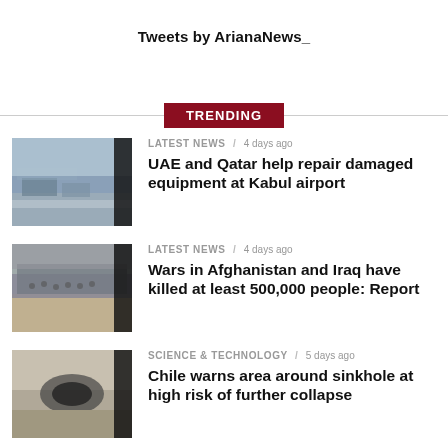Tweets by ArianaNews_
TRENDING
LATEST NEWS / 4 days ago
UAE and Qatar help repair damaged equipment at Kabul airport
LATEST NEWS / 4 days ago
Wars in Afghanistan and Iraq have killed at least 500,000 people: Report
SCIENCE & TECHNOLOGY / 5 days ago
Chile warns area around sinkhole at high risk of further collapse